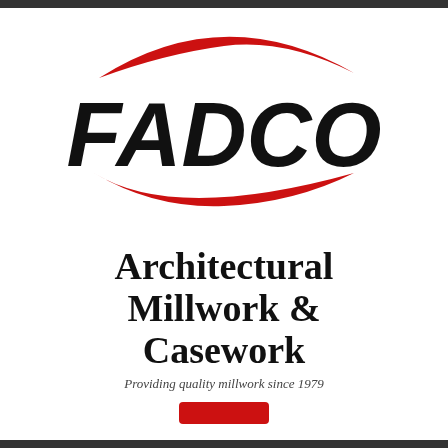[Figure (logo): FADCO company logo: bold black italic text 'FADCO' with red swoosh/arc shapes above and below the text forming an oval/ellipse shape]
Architectural Millwork & Casework
Providing quality millwork since 1979